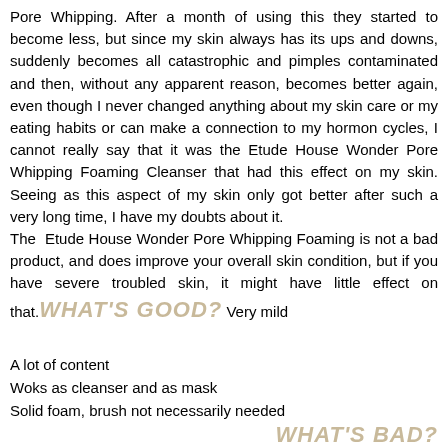Pore Whipping. After a month of using this they started to become less, but since my skin always has its ups and downs, suddenly becomes all catastrophic and pimples contaminated and then, without any apparent reason, becomes better again, even though I never changed anything about my skin care or my eating habits or can make a connection to my hormon cycles, I cannot really say that it was the Etude House Wonder Pore Whipping Foaming Cleanser that had this effect on my skin. Seeing as this aspect of my skin only got better after such a very long time, I have my doubts about it. The Etude House Wonder Pore Whipping Foaming is not a bad product, and does improve your overall skin condition, but if you have severe troubled skin, it might have little effect on that.
WHAT'S GOOD? Very mild
A lot of content
Woks as cleanser and as mask
Solid foam, brush not necessarily needed
WHAT'S BAD?